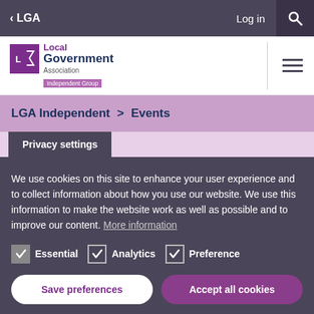< LGA   Log in
[Figure (logo): Local Government Association Independent Group logo]
LGA Independent > Events
Privacy settings
We use cookies on this site to enhance your user experience and to collect information about how you use our website. We use this information to make the website work as well as possible and to improve our content. More information
Essential   Analytics   Preference
Save preferences   Accept all cookies